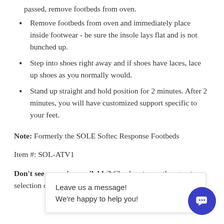passed, remove footbeds from oven.
Remove footbeds from oven and immediately place inside footwear - be sure the insole lays flat and is not bunched up.
Step into shoes right away and if shoes have laces, lace up shoes as you normally would.
Stand up straight and hold position for 2 minutes. After 2 minutes, you will have customized support specific to your feet.
Note: Formerly the SOLE Softec Response Footbeds
Item #: SOL-ATV1
Don't see your size available? Check out our other great selection of he
Leave us a message!
We're happy to help you!